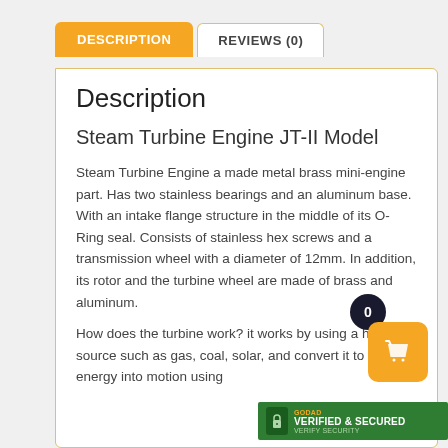DESCRIPTION | REVIEWS (0)
Description
Steam Turbine Engine JT-II Model
Steam Turbine Engine a made metal brass mini-engine part. Has two stainless bearings and an aluminum base. With an intake flange structure in the middle of its O-Ring seal. Consists of stainless hex screws and a transmission wheel with a diameter of 12mm. In addition, its rotor and the turbine wheel are made of brass and aluminum.
How does the turbine work? it works by using a heat source such as gas, coal, solar, and convert it to heat energy into motion using